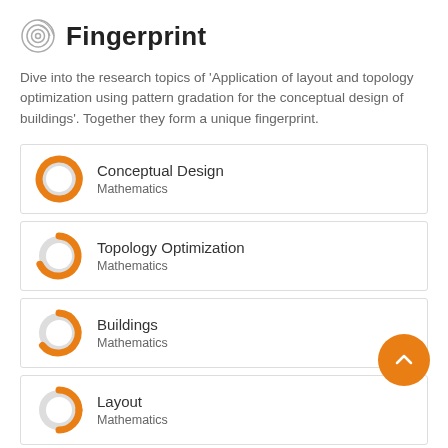Fingerprint
Dive into the research topics of 'Application of layout and topology optimization using pattern gradation for the conceptual design of buildings'. Together they form a unique fingerprint.
[Figure (donut-chart): Donut chart for Conceptual Design, Mathematics, mostly filled orange]
Conceptual Design
Mathematics
[Figure (donut-chart): Donut chart for Topology Optimization, Mathematics, partially filled orange]
Topology Optimization
Mathematics
[Figure (donut-chart): Donut chart for Buildings, Mathematics, partially filled orange]
Buildings
Mathematics
[Figure (donut-chart): Donut chart for Layout, Mathematics, partially filled orange]
Layout
Mathematics
[Figure (donut-chart): Donut chart for Shape optimization, partially visible]
Shape optimization